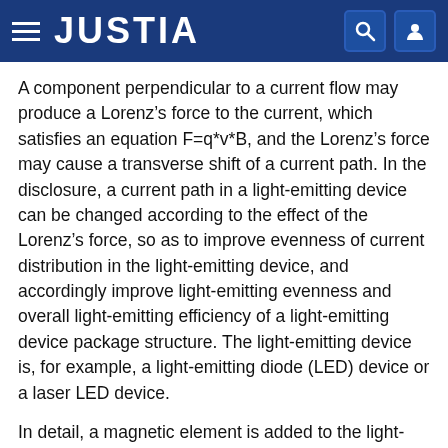JUSTIA
A component perpendicular to a current flow may produce a Lorenz’s force to the current, which satisfies an equation F=q*v*B, and the Lorenz’s force may cause a transverse shift of a current path. In the disclosure, a current path in a light-emitting device can be changed according to the effect of the Lorenz’s force, so as to improve evenness of current distribution in the light-emitting device, and accordingly improve light-emitting evenness and overall light-emitting efficiency of a light-emitting device package structure. The light-emitting device is, for example, a light-emitting diode (LED) device or a laser LED device.
In detail, a magnetic element is added to the light-emitting device package structure to provide a magnetic field to the light-emitting device in the light-emitting device package structure, so as to change the current